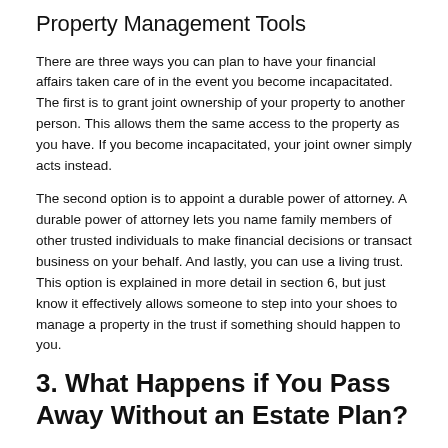Property Management Tools
There are three ways you can plan to have your financial affairs taken care of in the event you become incapacitated. The first is to grant joint ownership of your property to another person. This allows them the same access to the property as you have. If you become incapacitated, your joint owner simply acts instead.
The second option is to appoint a durable power of attorney. A durable power of attorney lets you name family members of other trusted individuals to make financial decisions or transact business on your behalf. And lastly, you can use a living trust. This option is explained in more detail in section 6, but just know it effectively allows someone to step into your shoes to manage a property in the trust if something should happen to you.
3. What Happens if You Pass Away Without an Estate Plan?